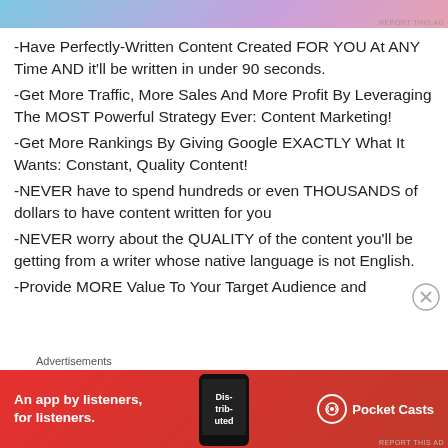[Figure (other): Top advertisement banner with gradient blue-purple-pink colors and 'REPORT THIS AD' text]
-Have Perfectly-Written Content Created FOR YOU At ANY Time AND it'll be written in under 90 seconds.
-Get More Traffic, More Sales And More Profit By Leveraging The MOST Powerful Strategy Ever: Content Marketing!
-Get More Rankings By Giving Google EXACTLY What It Wants: Constant, Quality Content!
-NEVER have to spend hundreds or even THOUSANDS of dollars to have content written for you
-NEVER worry about the QUALITY of the content you'll be getting from a writer whose native language is not English.
-Provide MORE Value To Your Target Audience and
Advertisements
[Figure (other): Pocket Casts advertisement banner: red background with 'An app by listeners, for listeners.' text, phone image showing 'Distributed' text, and Pocket Casts logo]